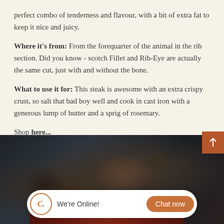perfect combo of tenderness and flavour, with a bit of extra fat to keep it nice and juicy.
Where it's from: From the forequarter of the animal in the rib section. Did you know - scotch Fillet and Rib-Eye are actually the same cut, just with and without the bone.
What to use it for: This steak is awesome with an extra crispy crust, so salt that bad boy well and cook in cast iron with a generous lump of butter and a sprig of rosemary.
Shop here...
[Figure (photo): Dark background photo of a raw steak (rib-eye/scotch fillet) on a dark stone/slate surface, partially visible at the bottom of the image. A chat widget overlay reads 'We're Online! Chat now' and there is an orange scroll-to-top button in the top right corner.]